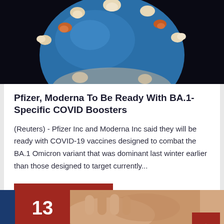[Figure (photo): Close-up photo of a coronavirus model — a blue sphere with beige/orange spike proteins protruding from its surface, against a dark background.]
Pfizer, Moderna To Be Ready With BA.1-Specific COVID Boosters
(Reuters) - Pfizer Inc and Moderna Inc said they will be ready with COVID-19 vaccines designed to combat the BA.1 Omicron variant that was dominant last winter earlier than those designed to target currently...
Read More Here
[Figure (photo): Partial bottom strip showing a number 13 on a red background and a partial photo of a person's hand/arm.]